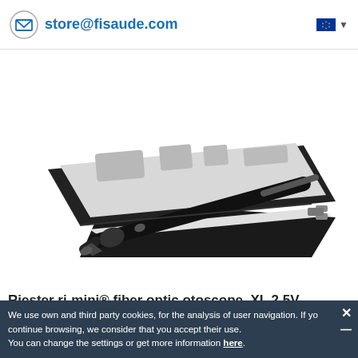store@fisaude.com
[Figure (photo): A Riester ri-mini fiber optic otoscope in an open black case with foam lining, showing the device and its components.]
Riester ri-mini® fiber optic otoscope, XL 2.5V
We use own and third party cookies, for the analysis of user navigation. If you continue browsing, we consider that you accept their use. You can change the settings or get more information here.